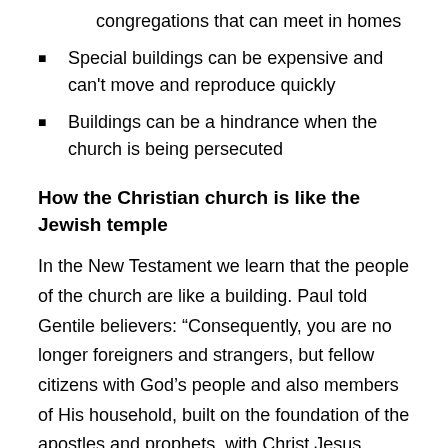congregations that can meet in homes
Special buildings can be expensive and can't move and reproduce quickly
Buildings can be a hindrance when the church is being persecuted
How the Christian church is like the Jewish temple
In the New Testament we learn that the people of the church are like a building. Paul told Gentile believers: “Consequently, you are no longer foreigners and strangers, but fellow citizens with God’s people and also members of His household, built on the foundation of the apostles and prophets, with Christ Jesus Himself as the chief cornerstone. In Him the whole building is joined together and rises to become a holy temple in the Lord. And in Him you too are being built together to become a